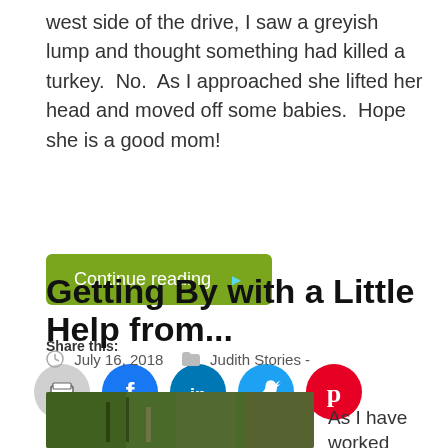west side of the drive, I saw a greyish lump and thought something had killed a turkey.  No.  As I approached she lifted her head and moved off some babies.  Hope she is a good mom!
Continue reading ▶
Share this:
[Figure (other): Social sharing icons: print (grey), Facebook (blue), LinkedIn (dark blue), Twitter (light blue), Pinterest (red)]
Getting By with a Little Help from...
July 16, 2018   Judith Stories -
[Figure (photo): Partial photograph of plants or brush, greenish/brown tones]
As I have worked